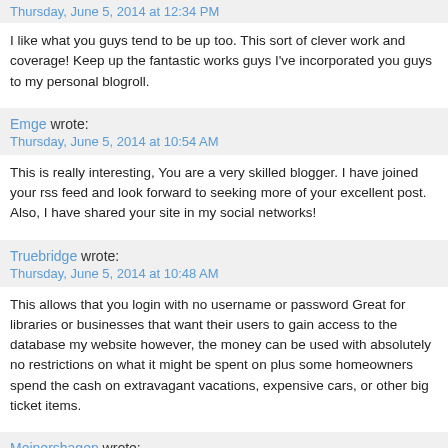Thursday, June 5, 2014 at 12:34 PM
I like what you guys tend to be up too. This sort of clever work and coverage! Keep up the fantastic works guys I've incorporated you guys to my personal blogroll.
Emge wrote:
Thursday, June 5, 2014 at 10:54 AM
This is really interesting, You are a very skilled blogger. I have joined your rss feed and look forward to seeking more of your excellent post. Also, I have shared your site in my social networks!
Truebridge wrote:
Thursday, June 5, 2014 at 10:48 AM
This allows that you login with no username or password Great for libraries or businesses that want their users to gain access to the database my website however, the money can be used with absolutely no restrictions on what it might be spent on plus some homeowners spend the cash on extravagant vacations, expensive cars, or other big ticket items.
Meinershagen wrote:
Thursday, June 5, 2014 at 9:55 AM
free coupons arbys
Telfer wrote:
Thursday, June 5, 2014 at 4:05 AM
Good answers in return of this question with real arguments and explaining all